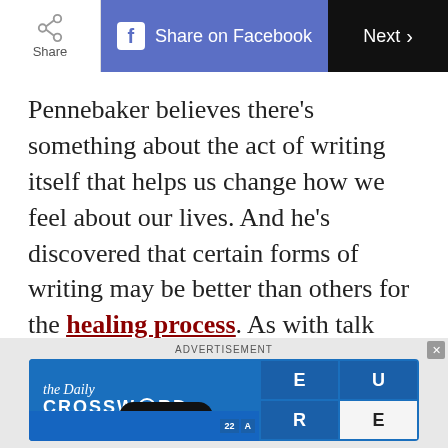Share | Share on Facebook | Next
Pennebaker believes there’s something about the act of writing itself that helps us change how we feel about our lives. And he’s discovered that certain forms of writing may be better than others for the healing process. As with talk therapy, it appears that imposing some structure on writing and building a new narrative, as opposed to rehashing the same old stories and feelings over and over again, provides a perspective on and distance
[Figure (screenshot): Advertisement banner for The Daily Crossword game with 'Play Now' button]